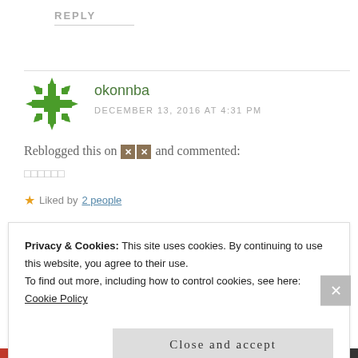REPLY
okonnba
DECEMBER 13, 2016 AT 4:31 PM
Reblogged this on [icon][icon] and commented:
□□□□□□
★ Liked by 2 people
Privacy & Cookies: This site uses cookies. By continuing to use this website, you agree to their use.
To find out more, including how to control cookies, see here:
Cookie Policy
Close and accept